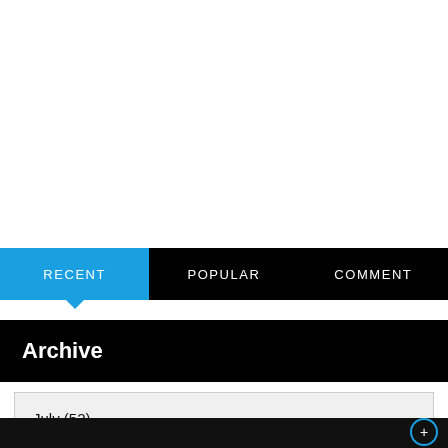RECENT | POPULAR | COMMENT
Archive
July (52)